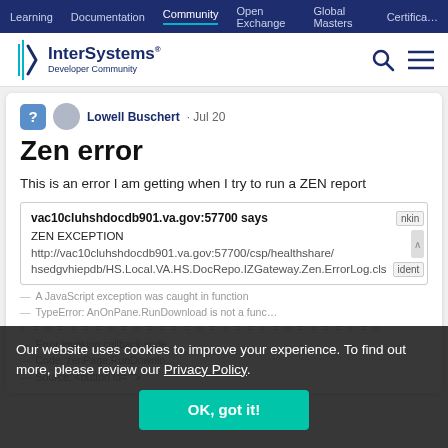Learning | Documentation | Community | Open Exchange | Global Masters | Certification
[Figure (logo): InterSystems Developer Community logo with teal bracket icon]
Lowell Buschert · Jul 20
Zen error
This is an error I am getting when I try to run a ZEN report
[Figure (screenshot): Browser dialog: vac10cluhshdocdb901.va.gov:57700 says — ZEN EXCEPTION http://vac10cluhshdocdb901.va.gov:57700/csp/healthshare/hsedgvhiepdb/HS.Local.VA.HS.DocRepo.IZGateway.Zen.ErrorLog.cls]
A JavaScript exception was caught in function
TypeError: AnOnPane.RunDownload is not a func…
============================
Error invoking callback code…
Code: zenPage.RunDownlo…
Source: <button id="">
Our website uses cookies to improve your experience. To find out more, please review our Privacy Policy.
OK, got it!